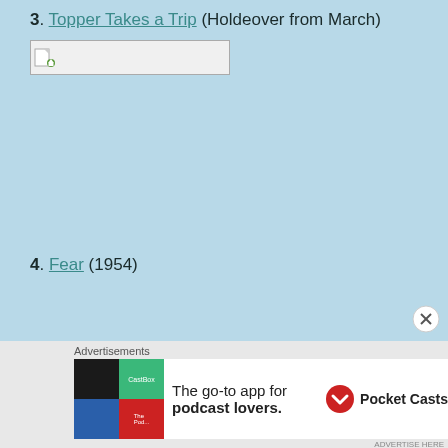3. Topper Takes a Trip (Holdeover from March)
[Figure (other): Broken image placeholder with small icon and empty rectangle]
4. Fear (1954)
Advertisements
[Figure (other): Pocket Casts advertisement banner: 'The go-to app for podcast lovers.' with colorful logo squares on left and Pocket Casts logo on right]